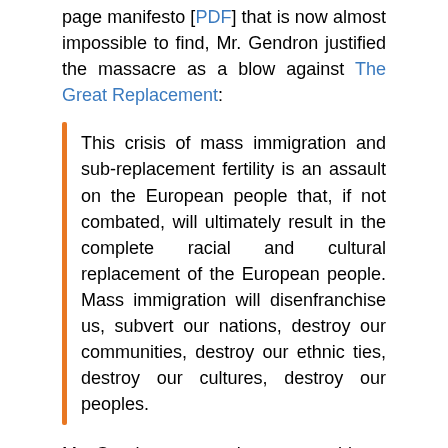page manifesto [PDF] that is now almost impossible to find, Mr. Gendron justified the massacre as a blow against The Great Replacement:
This crisis of mass immigration and sub-replacement fertility is an assault on the European people that, if not combated, will ultimately result in the complete racial and cultural replacement of the European people. Mass immigration will disenfranchise us, subvert our nations, destroy our communities, destroy our ethnic ties, destroy our cultures, destroy our peoples.
Mr. Gendron wrote about many things: Jews, “rampant nihilism, consumerism and individualism,” “soulless metropolitan architecture,” fiat currency, and—at obsessive length—about weapons, ammunition, body